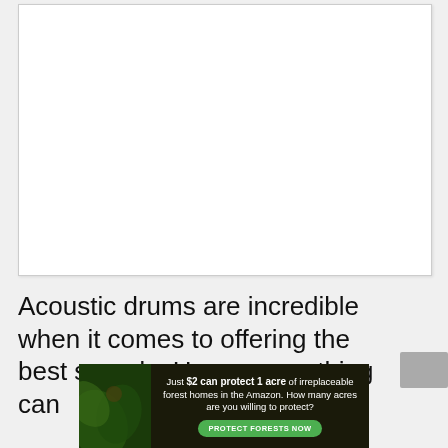[Figure (other): White rectangular box with border, representing an embedded media or video placeholder]
Acoustic drums are incredible when it comes to offering the best sounds. However, nothing can
[Figure (other): Advertisement banner: green forest background with text 'Just $2 can protect 1 acre of irreplaceable forest homes in the Amazon. How many acres are you willing to protect?' with a green 'PROTECT FORESTS NOW' button]